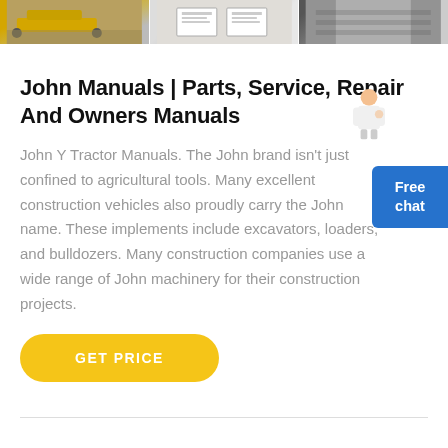[Figure (photo): Three thumbnail images at the top: a yellow construction vehicle, documents/manuals, and an indoor storage/shelf area]
John Manuals | Parts, Service, Repair And Owners Manuals
John Y Tractor Manuals. The John brand isn't just confined to agricultural tools. Many excellent construction vehicles also proudly carry the John name. These implements include excavators, loaders, and bulldozers. Many construction companies use a wide range of John machinery for their construction projects.
[Figure (illustration): Free chat widget button with a small illustrated customer service representative figure]
GET PRICE